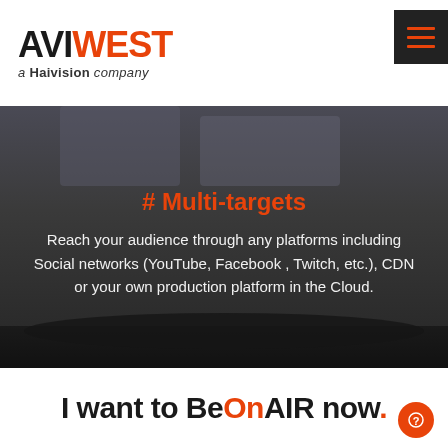AVIWEST a Haivision company
[Figure (screenshot): Dark background hero section with faint image of person's legs/sneakers at top, overlaid with text content]
# Multi-targets
Reach your audience through any platforms including Social networks (YouTube, Facebook , Twitch, etc.), CDN or your own production platform in the Cloud.
I want to BeOnAIR now.